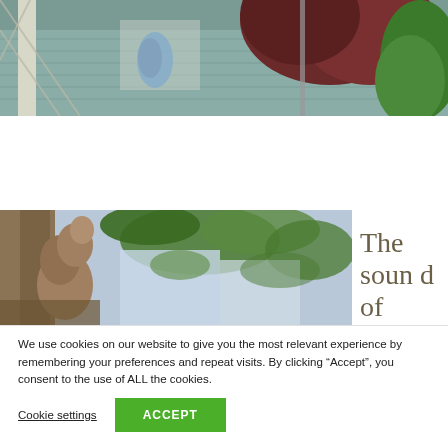[Figure (photo): Top portion of a house exterior with teal/green siding, a covered porch with lattice detail, and lush red-leafed and green trees/plants in the foreground and background.]
[Figure (photo): Low-angle photo of a dog looking up toward trees and a bright sky, with tree branches and green foliage in the background.]
The sound of
We use cookies on our website to give you the most relevant experience by remembering your preferences and repeat visits. By clicking “Accept”, you consent to the use of ALL the cookies.
Cookie settings
ACCEPT